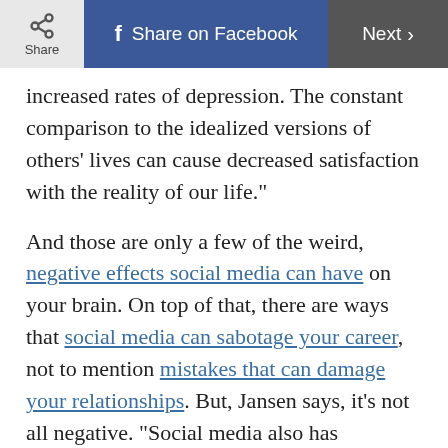Share | Share on Facebook | Next >
increased rates of depression. The constant comparison to the idealized versions of others' lives can cause decreased satisfaction with the reality of our life."
And those are only a few of the weird, negative effects social media can have on your brain. On top of that, there are ways that social media can sabotage your career, not to mention mistakes that can damage your relationships. But, Jansen says, it's not all negative. “Social media also has considerable benefits, like improved social support and community building that may not otherwise be possible for individuals,” she explains. Here’s a look at 15 things that could happen if social media disappeared—the good, the bad, and the